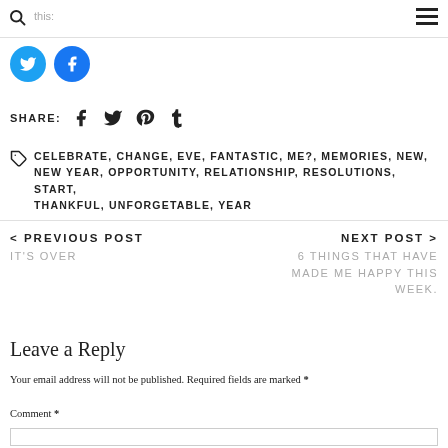this:
[Figure (other): Twitter and Facebook circular share buttons]
SHARE: (Facebook, Twitter, Pinterest, Tumblr icons)
CELEBRATE, CHANGE, EVE, FANTASTIC, ME?, MEMORIES, NEW, NEW YEAR, OPPORTUNITY, RELATIONSHIP, RESOLUTIONS, START, THANKFUL, UNFORGETABLE, YEAR
< PREVIOUS POST
IT'S OVER
NEXT POST >
6 THINGS THAT HAVE MADE ME HAPPY THIS WEEK.
Leave a Reply
Your email address will not be published. Required fields are marked *
Comment *